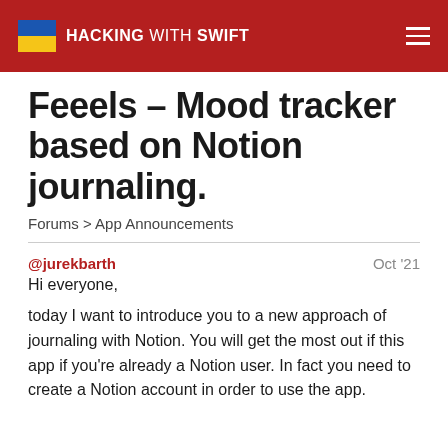HACKING WITH SWIFT
Feeels – Mood tracker based on Notion journaling.
Forums > App Announcements
@jurekbarth    Oct '21
Hi everyone,
today I want to introduce you to a new approach of journaling with Notion. You will get the most out if this app if you're already a Notion user. In fact you need to create a Notion account in order to use the app.